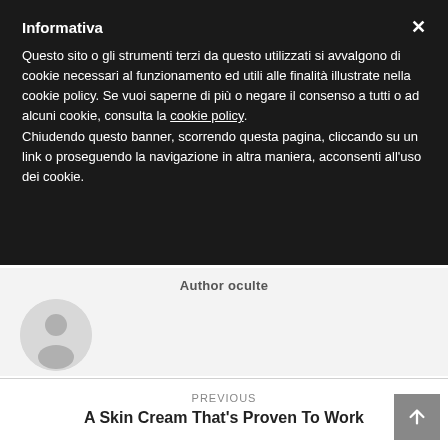Informativa
Questo sito o gli strumenti terzi da questo utilizzati si avvalgono di cookie necessari al funzionamento ed utili alle finalità illustrate nella cookie policy. Se vuoi saperne di più o negare il consenso a tutti o ad alcuni cookie, consulta la cookie policy. Chiudendo questo banner, scorrendo questa pagina, cliccando su un link o proseguendo la navigazione in altra maniera, acconsenti all'uso dei cookie.
[Figure (illustration): Author section with circular avatar placeholder icon (grey silhouette person icon) on a light grey background, with bold label 'Author oculte' above.]
PREVIOUS
A Skin Cream That's Proven To Work